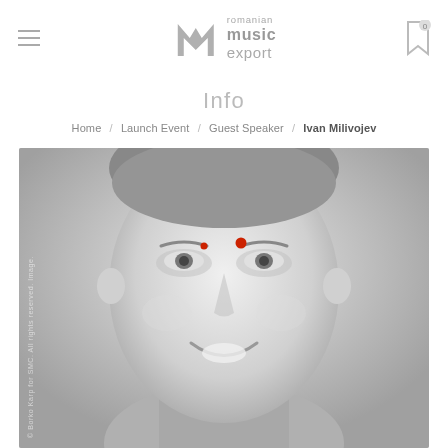Romanian Music Export — navigation header with hamburger menu and bookmark icon
Info
Home / Launch Event / Guest Speaker / Ivan Milivojev
[Figure (photo): Black and white headshot photo of Ivan Milivojev, a smiling middle-aged man, with two red dot overlays near the forehead area. Vertical watermark text on left side reads: © Borko Karp for SMC. All rights reserved. Image.]